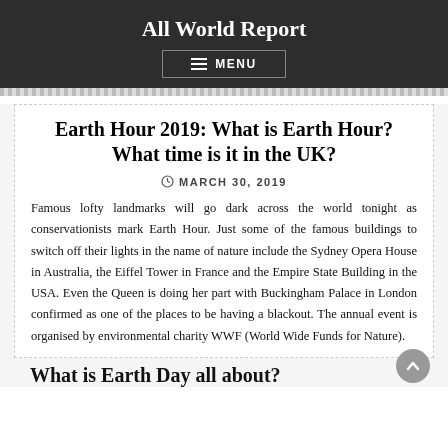All World Report
Earth Hour 2019: What is Earth Hour? What time is it in the UK?
MARCH 30, 2019
Famous lofty landmarks will go dark across the world tonight as conservationists mark Earth Hour. Just some of the famous buildings to switch off their lights in the name of nature include the Sydney Opera House in Australia, the Eiffel Tower in France and the Empire State Building in the USA. Even the Queen is doing her part with Buckingham Palace in London confirmed as one of the places to be having a blackout. The annual event is organised by environmental charity WWF (World Wide Funds for Nature).
What is Earth Day all about?